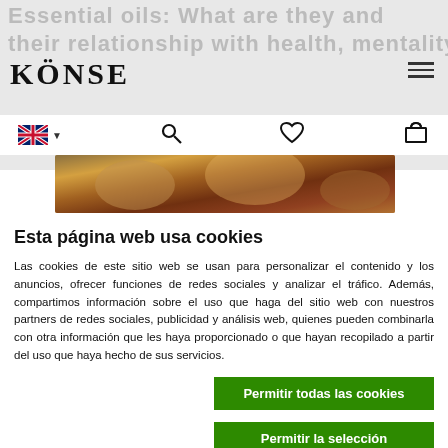[Figure (screenshot): Website header with faded background text reading 'Essential oils: What are they and...' and 'their relationship with...']
[Figure (logo): KÖNSE brand logo in serif font]
[Figure (screenshot): Navigation bar with UK flag language selector, search icon, heart/wishlist icon, and shopping cart icon]
[Figure (photo): Hero image strip showing a colorful fantasy or nature scene in golden/brown tones]
Esta página web usa cookies
Las cookies de este sitio web se usan para personalizar el contenido y los anuncios, ofrecer funciones de redes sociales y analizar el tráfico. Además, compartimos información sobre el uso que haga del sitio web con nuestros partners de redes sociales, publicidad y análisis web, quienes pueden combinarla con otra información que les haya proporcionado o que hayan recopilado a partir del uso que haya hecho de sus servicios.
Permitir todas las cookies
Permitir la selección
Solo usar cookies necesarias
Necesario  Preferencias  Estadística  Marketing  Mostrar detalles